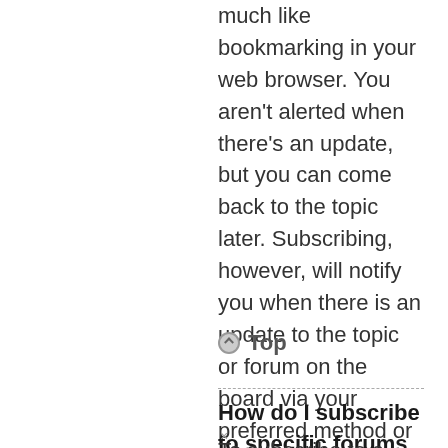much like bookmarking in your web browser. You aren't alerted when there's an update, but you can come back to the topic later. Subscribing, however, will notify you when there is an update to the topic or forum on the board via your preferred method or methods.
◦ Top
How do I subscribe to specific forums or topics?
To subscribe to a specific